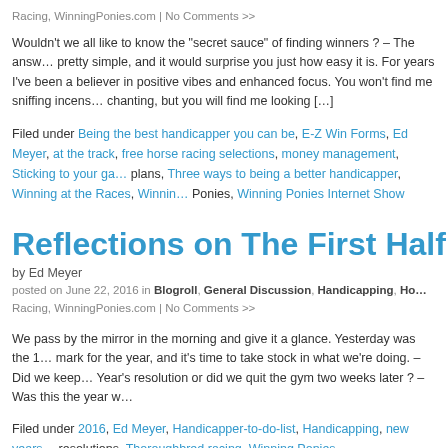Racing, WinningPonies.com | No Comments >>
Wouldn't we all like to know the “secret sauce” of finding winners ? – The answer is pretty simple, and it would surprise you just how easy it is. For years I’ve been a believer in positive vibes and enhanced focus. You won’t find me sniffing incense or chanting, but you will find me looking […]
Filed under Being the best handicapper you can be, E-Z Win Forms, Ed Meyer, at the track, free horse racing selections, money management, Sticking to your game plans, Three ways to being a better handicapper, Winning at the Races, Winning Ponies, Winning Ponies Internet Show
Reflections on The First Half of 201…
by Ed Meyer
posted on June 22, 2016 in Blogroll, General Discussion, Handicapping, Horse Racing, WinningPonies.com | No Comments >>
We pass by the mirror in the morning and give it a glance. Yesterday was the 1… mark for the year, and it’s time to take stock in what we’re doing. – Did we keep our New Year’s resolution or did we quit the gym two weeks later ? – Was this the year w…
Filed under 2016, Ed Meyer, Handicapper-to-do-list, Handicapping, new years resolutions, Thoroughbred racing, Winning Ponies